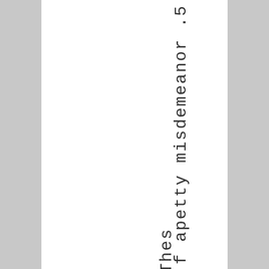f a p e t t y m i s d e m e a n o r . 5
T h e s